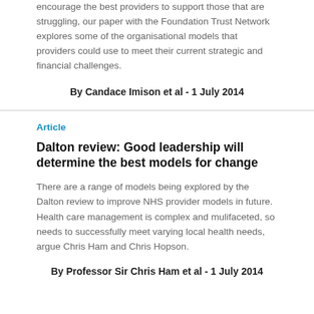encourage the best providers to support those that are struggling, our paper with the Foundation Trust Network explores some of the organisational models that providers could use to meet their current strategic and financial challenges.
By Candace Imison et al - 1 July 2014
Article
Dalton review: Good leadership will determine the best models for change
There are a range of models being explored by the Dalton review to improve NHS provider models in future. Health care management is complex and mulifaceted, so needs to successfully meet varying local health needs, argue Chris Ham and Chris Hopson.
By Professor Sir Chris Ham et al - 1 July 2014